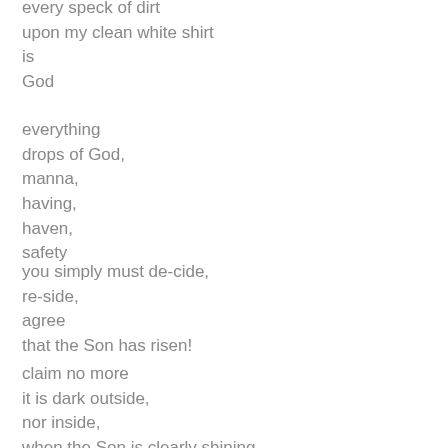every speck of dirt
upon my clean white shirt
is
God
everything
drops of God,
manna,
having,
haven,
safety
you simply must de-cide,
re-side,
agree
that the Son has risen!
claim no more
it is dark outside,
nor inside,
when the Son is clearly shining
as bright as can